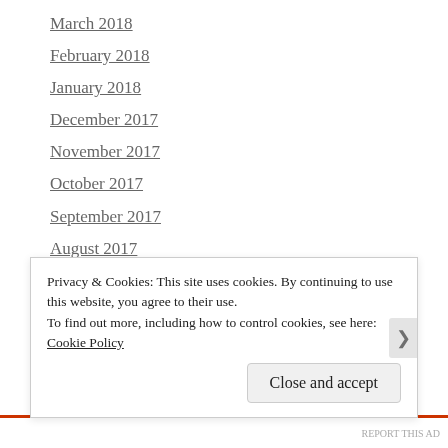March 2018
February 2018
January 2018
December 2017
November 2017
October 2017
September 2017
August 2017
July 2017
June 2017
May 2017
April 2017
March 2017
Privacy & Cookies: This site uses cookies. By continuing to use this website, you agree to their use.
To find out more, including how to control cookies, see here: Cookie Policy
Close and accept